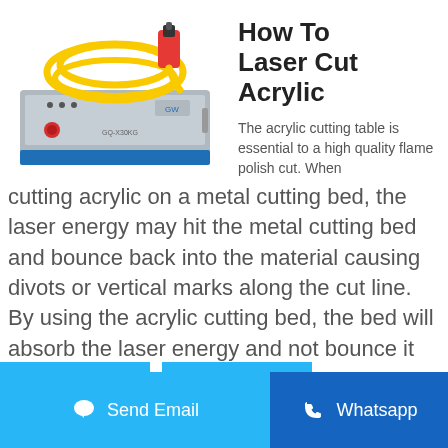[Figure (photo): A laser cutting machine with yellow cable coiled on top and a red emergency stop button on the front panel, blue base, rack-mounted unit.]
How To Laser Cut Acrylic
The acrylic cutting table is essential to a high quality flame polish cut. When cutting acrylic on a metal cutting bed, the laser energy may hit the metal cutting bed and bounce back into the material causing divots or vertical marks along the cut line. By using the acrylic cutting bed, the bed will absorb the laser energy and not bounce it ...